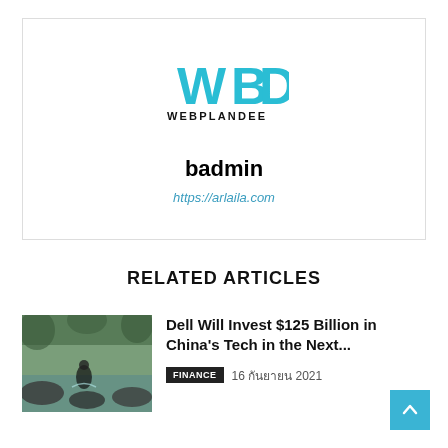[Figure (logo): WEBPLANDEE logo — stylized WBD letters in teal/cyan above the word WEBPLANDEE in black]
badmin
https://arlaila.com
RELATED ARTICLES
[Figure (photo): Person sitting by water and rocks in a forested setting]
Dell Will Invest $125 Billion in China's Tech in the Next...
FINANCE  16 กันยายน 2021